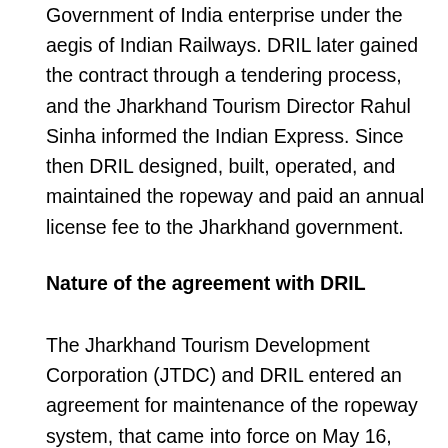Government of India enterprise under the aegis of Indian Railways. DRIL later gained the contract through a tendering process, and the Jharkhand Tourism Director Rahul Sinha informed the Indian Express. Since then DRIL designed, built, operated, and maintained the ropeway and paid an annual license fee to the Jharkhand government.
Nature of the agreement with DRIL
The Jharkhand Tourism Development Corporation (JTDC) and DRIL entered an agreement for maintenance of the ropeway system, that came into force on May 16, 2014. The contract was a period of five years to be extendable upto three times. The